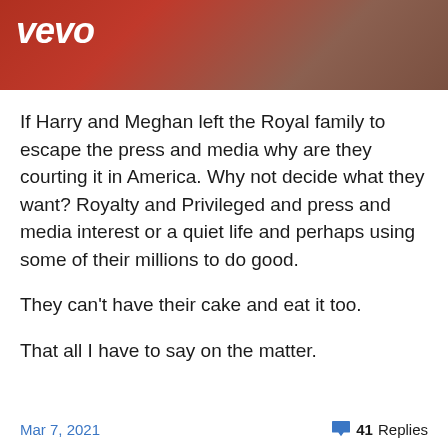[Figure (screenshot): Vevo video thumbnail showing partial image with Vevo logo in white on red/brown background]
If Harry and Meghan left the Royal family to escape the press and media why are they courting it in America. Why not decide what they want? Royalty and Privileged and press and media interest or a quiet life and perhaps using some of their millions to do good.
They can't have their cake and eat it too.
That all I have to say on the matter.
Mar 7, 2021   41 Replies